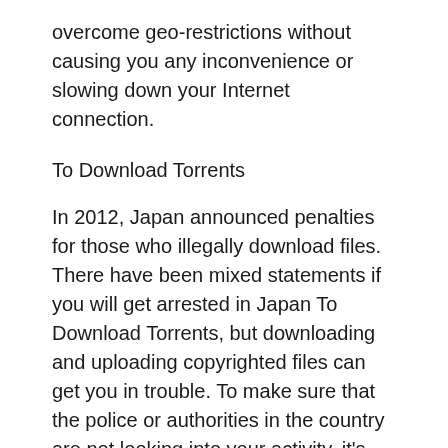overcome geo-restrictions without causing you any inconvenience or slowing down your Internet connection.
To Download Torrents
In 2012, Japan announced penalties for those who illegally download files. There have been mixed statements if you will get arrested in Japan To Download Torrents, but downloading and uploading copyrighted files can get you in trouble. To make sure that the police or authorities in the country are not looking into your activity, it’s best to use a VPN.
You may use a Japan VPN to hide your true IP